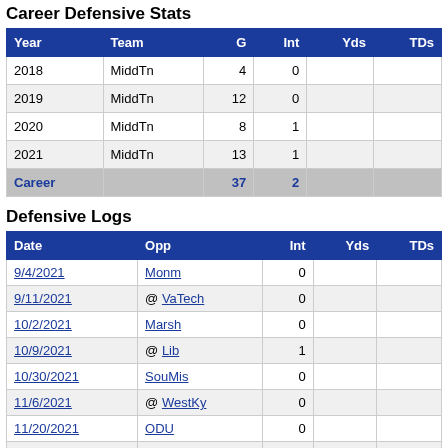Career Defensive Stats
| Year | Team | G | Int | Yds | TDs |
| --- | --- | --- | --- | --- | --- |
| 2018 | MiddTn | 4 | 0 |  |  |
| 2019 | MiddTn | 12 | 0 |  |  |
| 2020 | MiddTn | 8 | 1 |  |  |
| 2021 | MiddTn | 13 | 1 |  |  |
| Career |  | 37 | 2 |  |  |
Defensive Logs
| Date | Opp | Int | Yds | TDs |
| --- | --- | --- | --- | --- |
| 9/4/2021 | Monm | 0 |  |  |
| 9/11/2021 | @ VaTech | 0 |  |  |
| 10/2/2021 | Marsh | 0 |  |  |
| 10/9/2021 | @ Lib | 1 |  |  |
| 10/30/2021 | SouMis | 0 |  |  |
| 11/6/2021 | @ WestKy | 0 |  |  |
| 11/20/2021 | ODU | 0 |  |  |
| 11/27/2021 | @ FlaAtl | 0 |  |  |
| 12/17/2021 | @ Toledo | 0 |  |  |